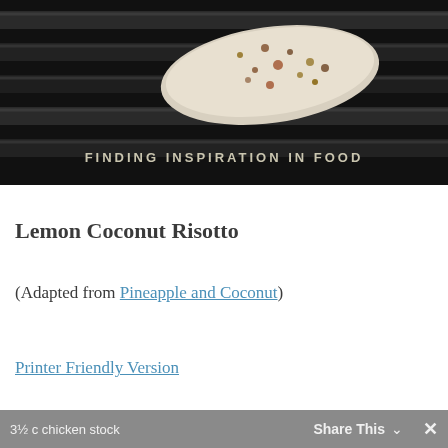[Figure (photo): A piece of fish fillet seasoned with spices on a dark grill, with text 'FINDING INSPIRATION IN FOOD' overlaid at the bottom]
Lemon Coconut Risotto
(Adapted from Pineapple and Coconut)
Printer Friendly Version
3½ c chicken stock   Share This   ✓   ✕